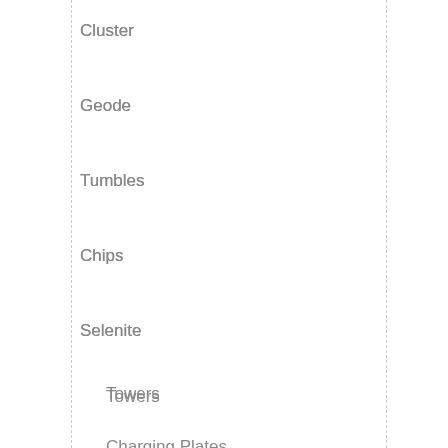Cluster
Geode
Tumbles
Chips
Selenite
Towers
Charging Plates
Bowls
Sphere
Tumble
Wand
Stick/Rod
Pendant
Candle Holder
Knives and Swords